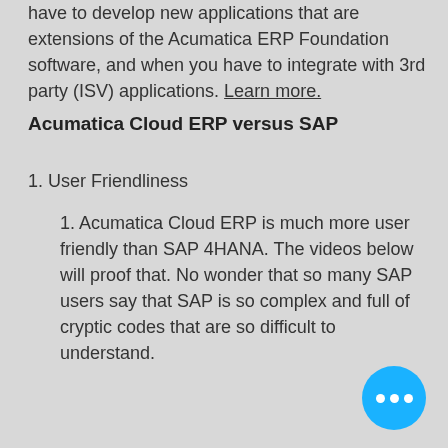have to develop new applications that are extensions of the Acumatica ERP Foundation software, and when you have to integrate with 3rd party (ISV) applications. Learn more.
Acumatica Cloud ERP versus SAP
1. User Friendliness
1. Acumatica Cloud ERP is much more user friendly than SAP 4HANA. The videos below will proof that. No wonder that so many SAP users say that SAP is so complex and full of cryptic codes that are so difficult to understand.
[Figure (other): Blue circular chat button with three white dots]